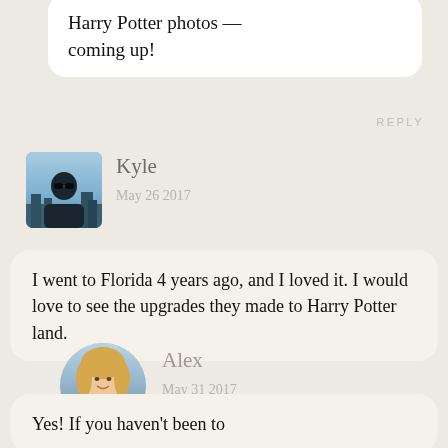Harry Potter photos — coming up!
REPLY
[Figure (photo): Avatar photo of Kyle, a man wearing sunglasses with a cityscape background, square crop with rounded corners]
Kyle
May 26 2017
I went to Florida 4 years ago, and I loved it. I would love to see the upgrades they made to Harry Potter land.
REPLY
[Figure (photo): Avatar photo of Alex, a woman with blonde hair, circular crop]
Alex
May 31 2017
Yes! If you haven't been to